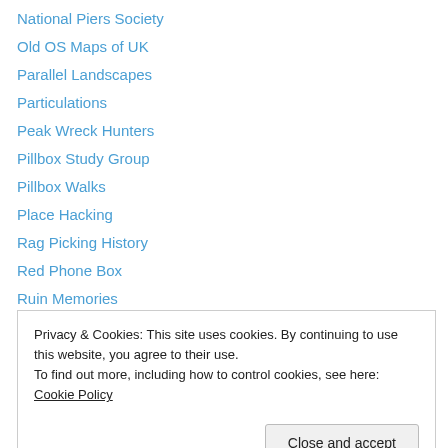National Piers Society
Old OS Maps of UK
Parallel Landscapes
Particulations
Peak Wreck Hunters
Pillbox Study Group
Pillbox Walks
Place Hacking
Rag Picking History
Red Phone Box
Ruin Memories
Scale Scenes
Sheffield Fire Brigades 1379 – 1974
Privacy & Cookies: This site uses cookies. By continuing to use this website, you agree to their use. To find out more, including how to control cookies, see here: Cookie Policy
The Bunker